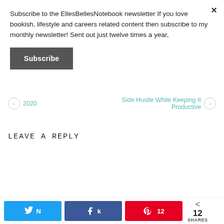Subscribe to the EllesBellesNotebook newsletter If you love bookish, lifestyle and careers related content then subscribe to my monthly newsletter! Sent out just twelve times a year,
Subscribe
2020
Side Hustle While Keeping It Productive
LEAVE A REPLY
N Tweet  k Share  A 12  < 12 SHARES